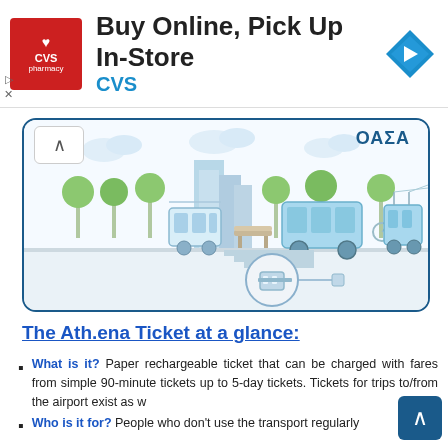[Figure (illustration): CVS Pharmacy advertisement banner: Buy Online, Pick Up In-Store with CVS logo and navigation icon]
[Figure (illustration): OASA Athens public transport illustration showing tram, bus, trolleybus, bicycles, trees, buildings, and a metro station underground]
The Ath.ena Ticket at a glance:
What is it? Paper rechargeable ticket that can be charged with fares from simple 90-minute tickets up to 5-day tickets. Tickets for trips to/from the airport exist as w...
Who is it for? People who don't use the transport regularly and just want a ticket to get to their destination.